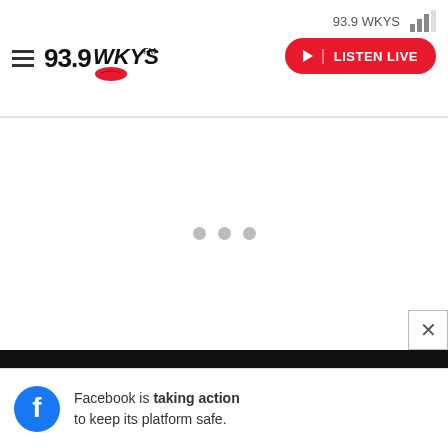93.9 WKYS — LISTEN LIVE
[Figure (other): Loading advertisement placeholder with three gray dots]
11. Leather Jacket
[Figure (photo): Partial top of a person's head with brown hair, partially visible]
[Figure (other): Facebook bottom advertisement banner: Facebook is taking action to keep its platform safe.]